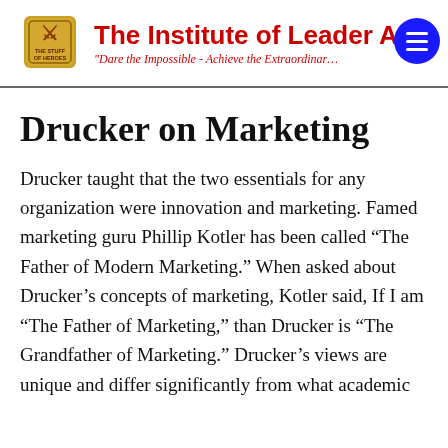The Institute of Leader Ar… | "Dare the Impossible - Achieve the Extraordinary"
Drucker on Marketing
Drucker taught that the two essentials for any organization were innovation and marketing. Famed marketing guru Phillip Kotler has been called “The Father of Modern Marketing.” When asked about Drucker’s concepts of marketing, Kotler said, If I am “The Father of Marketing,” than Drucker is “The Grandfather of Marketing.” Drucker’s views are unique and differ significantly from what academic